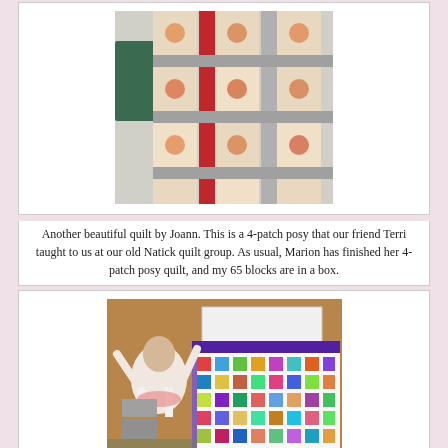[Figure (photo): A red, grey and cream 4-patch posy quilt laid out on a surface, showing colorful floral blocks with red and grey sashing.]
Another beautiful quilt by Joann. This is a 4-patch posy that our friend Terri taught to us at our old Natick quilt group. As usual, Marion has finished her 4-patch posy quilt, and my 65 blocks are in a box.
[Figure (photo): A woman holding up a colorful batik quilt with multicolored squares on a white background and purple border, in what appears to be a community room.]
This was a birthday block exchange that we did a few years ago. Joann made a